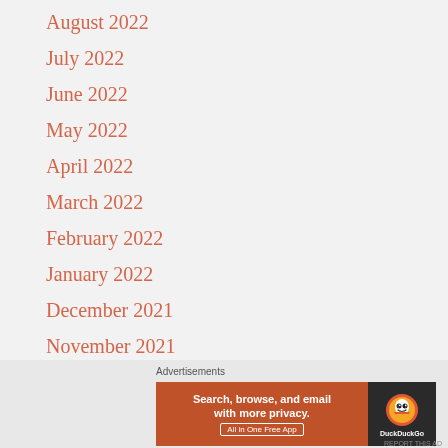August 2022
July 2022
June 2022
May 2022
April 2022
March 2022
February 2022
January 2022
December 2021
November 2021
[Figure (screenshot): DuckDuckGo advertisement banner: orange section with text 'Search, browse, and email with more privacy. All in One Free App' and dark section with DuckDuckGo logo and brand name]
REPORT THIS AD